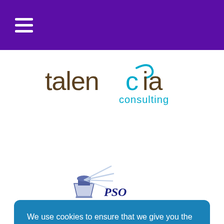☰ (hamburger menu)
[Figure (logo): Talencia Consulting logo — stylized text 'talencia' in brown/grey with a cyan swirl replacing the letter 'c', and 'consulting' in cyan below]
[Figure (logo): PSO Belgium logo — lighthouse illustration with blue and white rays, text 'PSO Belgium' in dark blue cursive/script font]
We use cookies to ensure that we give you the best experience on our website.
I accept
here to stay informed of the exciting chapter news and